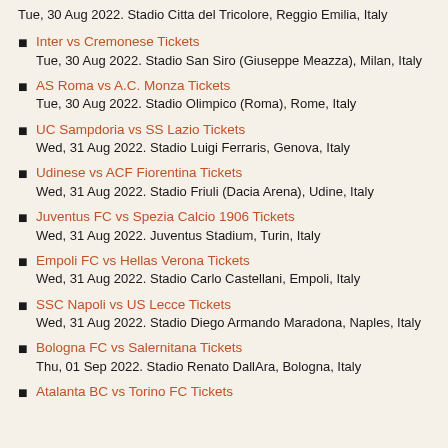Tue, 30 Aug 2022. Stadio Citta del Tricolore, Reggio Emilia, Italy
Inter vs Cremonese Tickets
Tue, 30 Aug 2022. Stadio San Siro (Giuseppe Meazza), Milan, Italy
AS Roma vs A.C. Monza Tickets
Tue, 30 Aug 2022. Stadio Olimpico (Roma), Rome, Italy
UC Sampdoria vs SS Lazio Tickets
Wed, 31 Aug 2022. Stadio Luigi Ferraris, Genova, Italy
Udinese vs ACF Fiorentina Tickets
Wed, 31 Aug 2022. Stadio Friuli (Dacia Arena), Udine, Italy
Juventus FC vs Spezia Calcio 1906 Tickets
Wed, 31 Aug 2022. Juventus Stadium, Turin, Italy
Empoli FC vs Hellas Verona Tickets
Wed, 31 Aug 2022. Stadio Carlo Castellani, Empoli, Italy
SSC Napoli vs US Lecce Tickets
Wed, 31 Aug 2022. Stadio Diego Armando Maradona, Naples, Italy
Bologna FC vs Salernitana Tickets
Thu, 01 Sep 2022. Stadio Renato DallAra, Bologna, Italy
Atalanta BC vs Torino FC Tickets